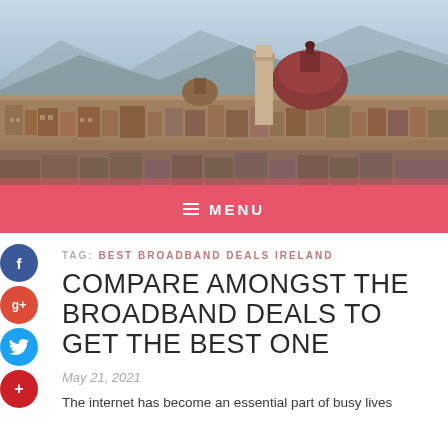[Figure (photo): Aerial cityscape photo of Florence, Italy showing the famous Cathedral of Santa Maria del Fiore (Duomo) with its iconic red dome and bell tower against a background of city rooftops and mountains]
≡ MENU
TAG: BEST BROADBAND DEALS IRELAND
COMPARE AMONGST THE BROADBAND DEALS TO GET THE BEST ONE
May 21, 2021
The internet has become an essential part of busy lives